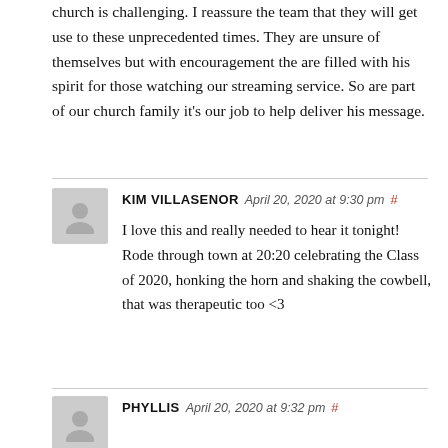church is challenging. I reassure the team that they will get use to these unprecedented times. They are unsure of themselves but with encouragement the are filled with his spirit for those watching our streaming service. So are part of our church family it's our job to help deliver his message.
KIM VILLASENOR  April 20, 2020 at 9:30 pm #
I love this and really needed to hear it tonight! Rode through town at 20:20 celebrating the Class of 2020, honking the horn and shaking the cowbell, that was therapeutic too <3
PHYLLIS  April 20, 2020 at 9:32 pm #